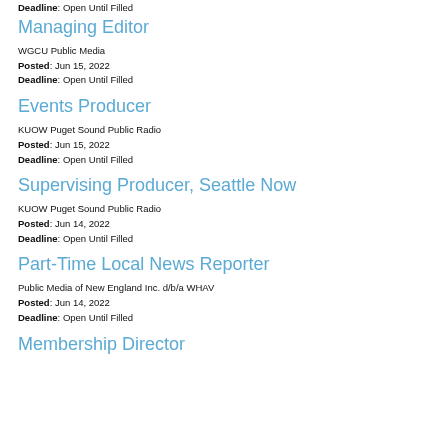Deadline: Open Until Filled
Managing Editor
WGCU Public Media
Posted: Jun 15, 2022
Deadline: Open Until Filled
Events Producer
KUOW Puget Sound Public Radio
Posted: Jun 15, 2022
Deadline: Open Until Filled
Supervising Producer, Seattle Now
KUOW Puget Sound Public Radio
Posted: Jun 14, 2022
Deadline: Open Until Filled
Part-Time Local News Reporter
Public Media of New England Inc. d/b/a WHAV
Posted: Jun 14, 2022
Deadline: Open Until Filled
Membership Director